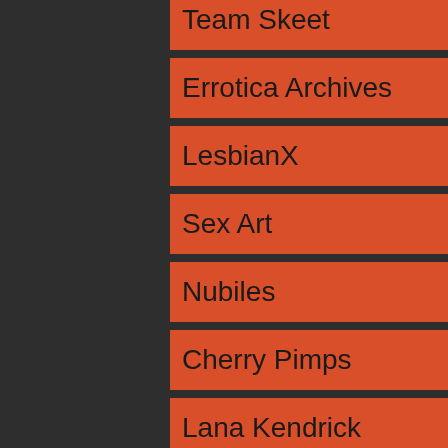Team Skeet
Errotica Archives
LesbianX
Sex Art
Nubiles
Cherry Pimps
Lana Kendrick
MYLF
Femjoy
Evil Angel
Nubiles Porn
ALS Angels
Only Tease
Nubile Films